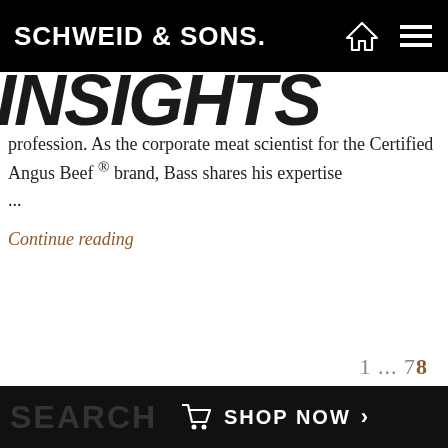SCHWEID & SONS.
INSIGHTS
profession. As the corporate meat scientist for the Certified Angus Beef ® brand, Bass shares his expertise ...
Continue reading
1 ... 7 8
SEARCH   SHOP NOW >